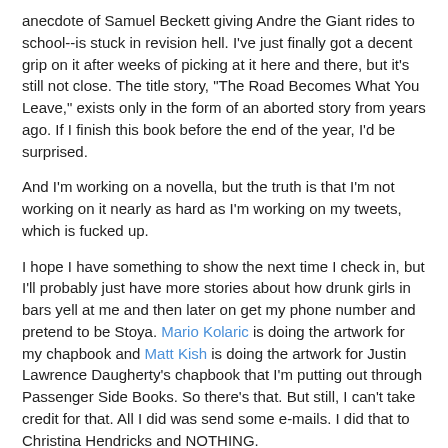anecdote of Samuel Beckett giving Andre the Giant rides to school--is stuck in revision hell. I've just finally got a decent grip on it after weeks of picking at it here and there, but it's still not close. The title story, "The Road Becomes What You Leave," exists only in the form of an aborted story from years ago. If I finish this book before the end of the year, I'd be surprised.
And I'm working on a novella, but the truth is that I'm not working on it nearly as hard as I'm working on my tweets, which is fucked up.
I hope I have something to show the next time I check in, but I'll probably just have more stories about how drunk girls in bars yell at me and then later on get my phone number and pretend to be Stoya. Mario Kolaric is doing the artwork for my chapbook and Matt Kish is doing the artwork for Justin Lawrence Daugherty's chapbook that I'm putting out through Passenger Side Books. So there's that. But still, I can't take credit for that. All I did was send some e-mails. I did that to Christina Hendricks and NOTHING.
That's it for now. Be wonderful.
RW